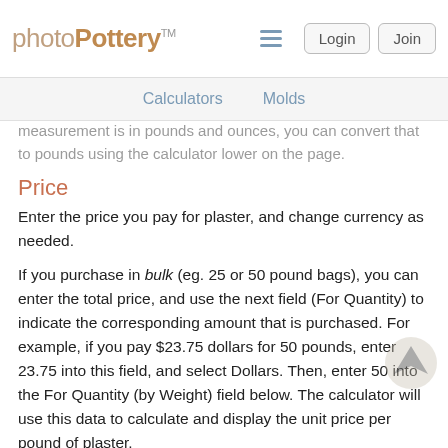photoPottery™  Login  Join
Calculators  Molds
measurement is in pounds and ounces, you can convert that to pounds using the calculator lower on the page.
Price
Enter the price you pay for plaster, and change currency as needed.
If you purchase in bulk (eg. 25 or 50 pound bags), you can enter the total price, and use the next field (For Quantity) to indicate the corresponding amount that is purchased. For example, if you pay $23.75 dollars for 50 pounds, enter 23.75 into this field, and select Dollars. Then, enter 50 into the For Quantity (by Weight) field below. The calculator will use this data to calculate and display the unit price per pound of plaster.
Alternatively, you can enter unit price into the Price field.